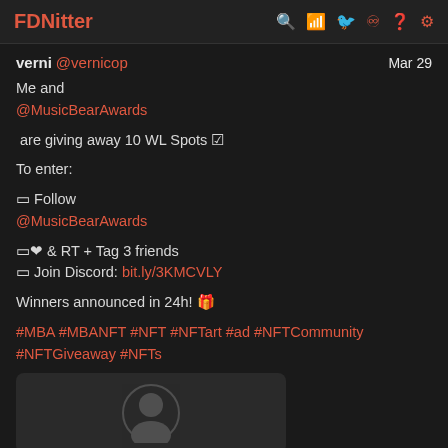FDNitter
verni @vernicop  Mar 29
Me and @MusicBearAwards

 are giving away 10 WL Spots ☑

To enter:

◽ Follow @MusicBearAwards

◽❤ & RT + Tag 3 friends
◽ Join Discord: bit.ly/3KMCVLY

Winners announced in 24h! 🎁

#MBA #MBANFT #NFT #NFTart #ad #NFTCommunity #NFTGiveaway #NFTs